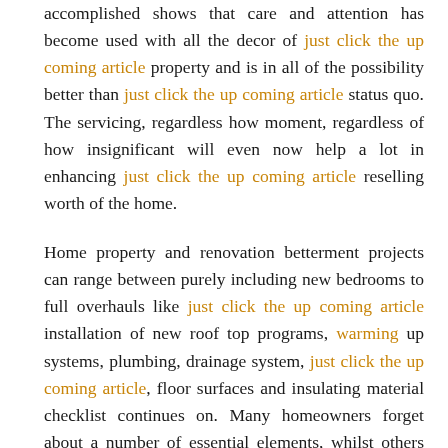accomplished shows that care and attention has become used with all the decor of just click the up coming article property and is in all of the possibility better than just click the up coming article status quo. The servicing, regardless how moment, regardless of how insignificant will even now help a lot in enhancing just click the up coming article reselling worth of the home.
Home property and renovation betterment projects can range between purely including new bedrooms to full overhauls like just click the up coming article installation of new roof top programs, warming up systems, plumbing, drainage system, just click the up coming article, floor surfaces and insulating material checklist continues on. Many homeowners forget about a number of essential elements, whilst others forget to understand the big picture. Some fail to even change classic devices such as laundryfreezer and unit, TV set up, microwave oven atmosphere and ovens conditioners although some forget